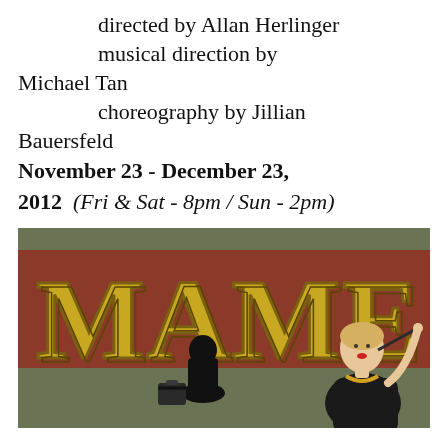directed by Allan Herlinger
musical direction by Michael Tan
choreography by Jillian Bauersfeld
November 23 - December 23, 2012  (Fri & Sat - 8pm / Sun - 2pm)
[Figure (illustration): Poster for the musical MAME showing bold Art Deco lettering 'MAME' in gold/yellow on a dark red and olive green background, with an illustrated glamorous blonde woman in a black dress holding a cigarette holder, and a silhouette of a man.]